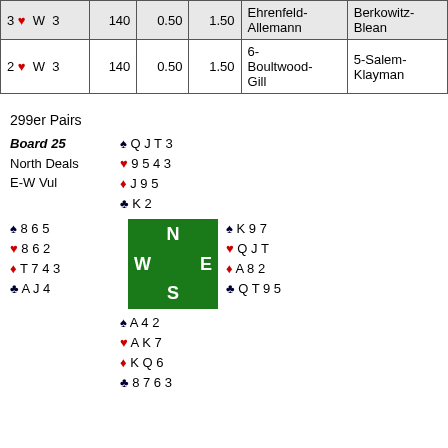| Contract | By | Tricks | Score | NS | EW | NS Pair | EW Pair |
| --- | --- | --- | --- | --- | --- | --- | --- |
| 3 ♥ | W | 3 | 140 | 0.50 | 1.50 | Ehrenfeld-Allemann | Berkowitz-Blean |
| 2 ♥ | W | 3 | 140 | 0.50 | 1.50 | 6-Boultwood-Gill | 5-Salem-Klayman |
299er Pairs
Board 25 | North Deals | E-W Vul
North: ♠ Q J T 3 ♥ 9 5 4 3 ♦ J 9 5 ♣ K 2
West: ♠ 8 6 5 ♥ 8 6 2 ♦ T 7 4 3 ♣ A J 4
[Figure (other): Bridge compass diagram with N, W, E, S]
East: ♠ K 9 7 ♥ Q J T ♦ A 8 2 ♣ Q T 9 5
South: ♠ A 4 2 ♥ A K 7 ♦ K Q 6 ♣ 8 7 6 3